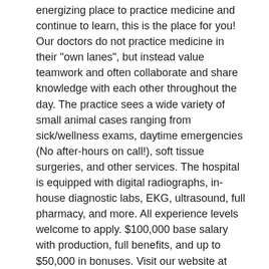energizing place to practice medicine and continue to learn, this is the place for you! Our doctors do not practice medicine in their "own lanes", but instead value teamwork and often collaborate and share knowledge with each other throughout the day. The practice sees a wide variety of small animal cases ranging from sick/wellness exams, daytime emergencies (No after-hours on call!), soft tissue surgeries, and other services. The hospital is equipped with digital radiographs, in-house diagnostic labs, EKG, ultrasound, full pharmacy, and more. All experience levels welcome to apply. $100,000 base salary with production, full benefits, and up to $50,000 in bonuses. Visit our website at https://www.alleganveterinaryclinic.com. For more information or to apply, please contact Megan Nolan at Megan.Nolan@nva.com or (404) 772-8367.